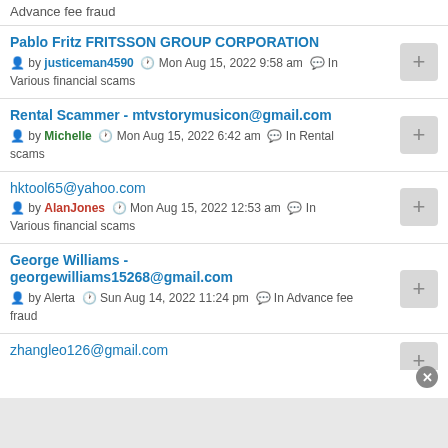Advance fee fraud
Pablo Fritz FRITSSON GROUP CORPORATION by justiceman4590 Mon Aug 15, 2022 9:58 am In Various financial scams
Rental Scammer - mtvstorymusicon@gmail.com by Michelle Mon Aug 15, 2022 6:42 am In Rental scams
hktool65@yahoo.com by AlanJones Mon Aug 15, 2022 12:53 am In Various financial scams
George Williams - georgewilliams15268@gmail.com by Alerta Sun Aug 14, 2022 11:24 pm In Advance fee fraud
zhangleo126@gmail.com